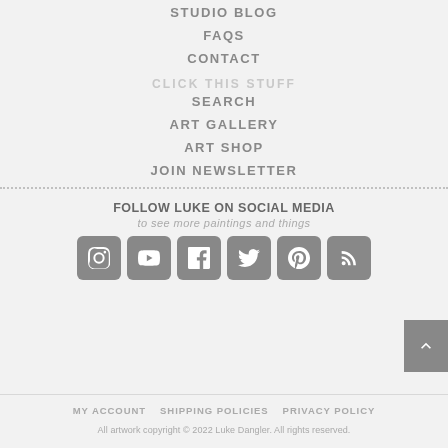STUDIO BLOG
FAQS
CONTACT
CLICK THIS STUFF
SEARCH
ART GALLERY
ART SHOP
JOIN NEWSLETTER
FOLLOW LUKE ON SOCIAL MEDIA
to see more paintings and things
[Figure (infographic): Row of 6 social media icons: Instagram, YouTube, Facebook, Twitter, Pinterest, RSS — each as a rounded grey square with white icon]
MY ACCOUNT   SHIPPING POLICIES   PRIVACY POLICY
All artwork copyright © 2022 Luke Dangler. All rights reserved.